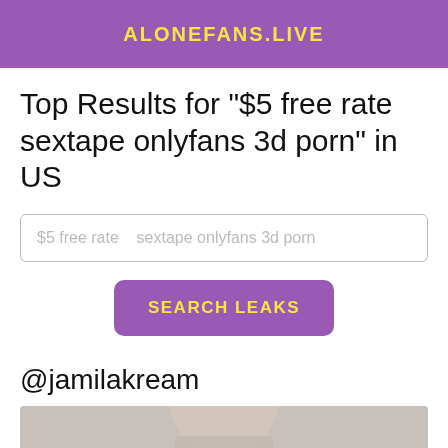ALONEFANS.LIVE
Top Results for "$5 free rate sextape onlyfans 3d porn" in US
$5 free rate   sextape onlyfans 3d porn
SEARCH LEAKS
@jamilakream
[Figure (photo): Partial view of a person with long blond hair, cropped at bottom of page]